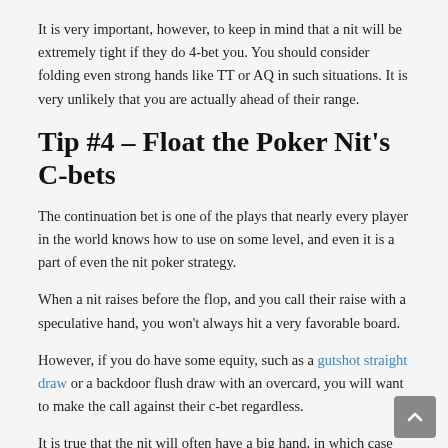It is very important, however, to keep in mind that a nit will be extremely tight if they do 4-bet you. You should consider folding even strong hands like TT or AQ in such situations. It is very unlikely that you are actually ahead of their range.
Tip #4 – Float the Poker Nit's C-bets
The continuation bet is one of the plays that nearly every player in the world knows how to use on some level, and even it is a part of even the nit poker strategy.
When a nit raises before the flop, and you call their raise with a speculative hand, you won't always hit a very favorable board.
However, if you do have some equity, such as a gutshot straight draw or a backdoor flush draw with an overcard, you will want to make the call against their c-bet regardless.
It is true that the nit will often have a big hand, in which case they will probably continue betting, and you will end up folding